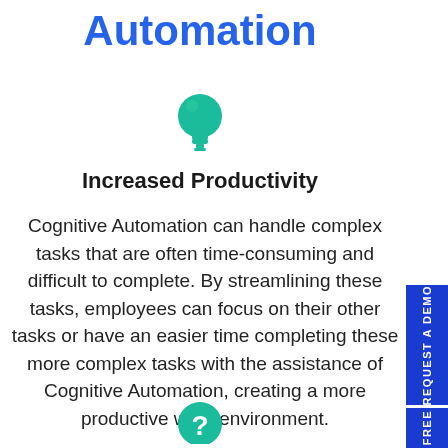Automation
[Figure (illustration): Green lightbulb icon]
Increased Productivity
Cognitive Automation can handle complex tasks that are often time-consuming and difficult to complete. By streamlining these tasks, employees can focus on their other tasks or have an easier time completing these more complex tasks with the assistance of Cognitive Automation, creating a more productive work environment.
[Figure (illustration): Green question mark icon (partial, at bottom)]